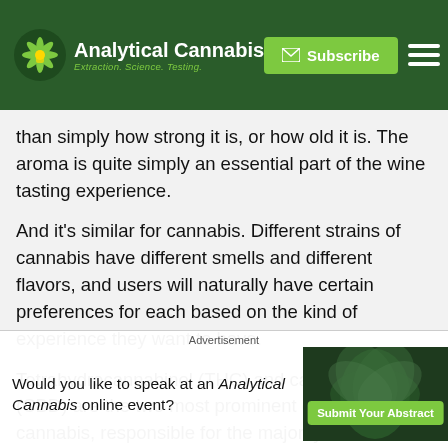Analytical Cannabis — Extraction. Science. Testing. | Subscribe
than simply how strong it is, or how old it is. The aroma is quite simply an essential part of the wine tasting experience.
And it's similar for cannabis. Different strains of cannabis have different smells and different flavors, and users will naturally have certain preferences for each based on the kind of experience they want to have.
Tetrahydrocannabinol (THC) and cannabidiol (CBD) are the two most prominent cannabinoids in cannabis, responsible for the majority of both the intoxicating and the medicinal effects of the plant respectively. However, both of these compounds are near-flavorless when isolated.
The odors and flavors that cannabis users experience when ... result of the ca... atic
[Figure (advertisement): Advertisement banner: 'Would you like to speak at an Analytical Cannabis online event?' with a Submit Your Abstract button and cannabis leaf imagery.]